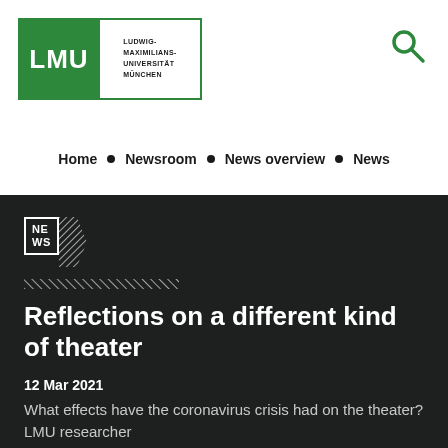[Figure (logo): LMU Ludwig-Maximilians-Universität München logo — green box with white LMU text, and green-bordered white box with institution name text]
[Figure (other): Search icon (magnifying glass) in green, top right corner]
Home ▪ Newsroom ▪ News overview ▪ News
[Figure (other): NEWS badge icon with hatched chevron decoration]
Reflections on a different kind of theater
12 Mar 2021
What effects have the coronavirus crisis had on the theater? LMU researcher